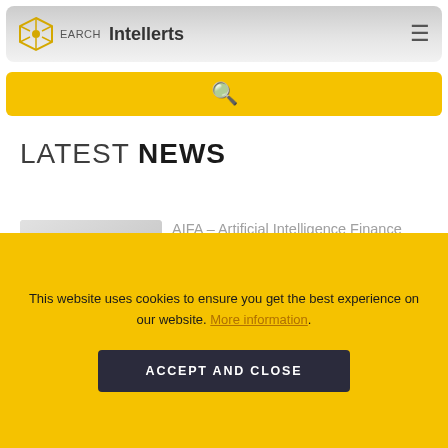Intellerts
[Figure (screenshot): Yellow search bar with magnifying glass icon]
LATEST NEWS
[Figure (illustration): Article thumbnail showing AI/finance analytics illustration with chat bubbles and figures]
AIFA – Artificial Intelligence Finance Analytics
August 10, 2022
This website uses cookies to ensure you get the best experience on our website. More information.
ACCEPT AND CLOSE